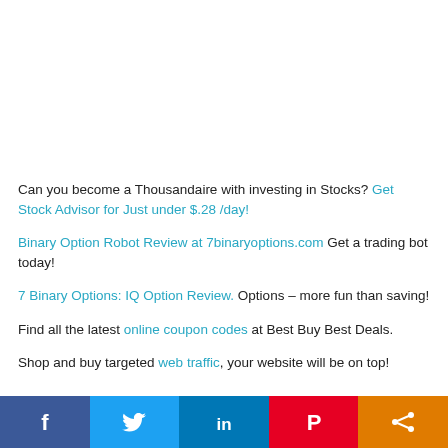Can you become a Thousandaire with investing in Stocks? Get Stock Advisor for Just under $.28 /day!
Binary Option Robot Review at 7binaryoptions.com Get a trading bot today!
7 Binary Options: IQ Option Review. Options – more fun than saving!
Find all the latest online coupon codes at Best Buy Best Deals.
Shop and buy targeted web traffic. your website will be on top!
[Figure (infographic): Social media sharing bar at bottom with Facebook, Twitter, LinkedIn, Pinterest, and Share buttons]